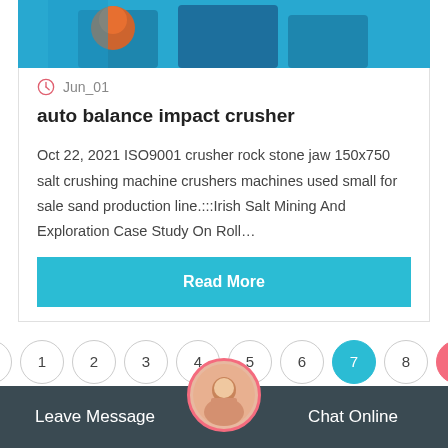[Figure (photo): Top portion of a blue industrial crusher machine with an orange-helmeted worker visible]
Jun_01
auto balance impact crusher
Oct 22, 2021 ISO9001 crusher rock stone jaw 150x750 salt crushing machine crushers machines used small for sale sand production line.:::Irish Salt Mining And Exploration Case Study On Roll…
Read More
« 1 2 3 4 5 6 7 8 ↑
Leave Message
[Figure (photo): Customer service representative avatar with headset]
Chat Online